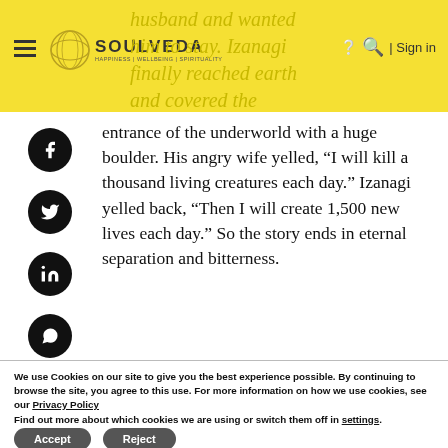husband and wanted him to stay. Izanagi finally reached earth and covered the
entrance of the underworld with a huge boulder. His angry wife yelled, “I will kill a thousand living creatures each day.” Izanagi yelled back, “Then I will create 1,500 new lives each day.” So the story ends in eternal separation and bitterness.
We use Cookies on our site to give you the best experience possible. By continuing to browse the site, you agree to this use. For more information on how we use cookies, see our Privacy Policy
Find out more about which cookies we are using or switch them off in settings.